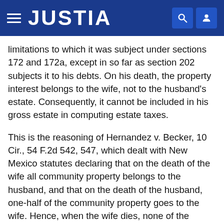JUSTIA
limitations to which it was subject under sections 172 and 172a, except in so far as section 202 subjects it to his debts. On his death, the property interest belongs to the wife, not to the husband's estate. Consequently, it cannot be included in his gross estate in computing estate taxes.
This is the reasoning of Hernandez v. Becker, 10 Cir., 54 F.2d 542, 547, which dealt with New Mexico statutes declaring that on the death of the wife all community property belongs to the husband, and that on the death of the husband, one-half of the community property goes to the wife. Hence, when the wife dies, none of the community property is includible within her estate as a basis for taxation, since all of it has passed directly to the husband. On the other hand, when the husband dies all of the community property is subject to his estate